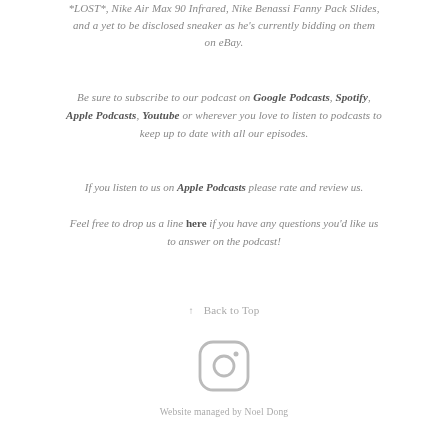*LOST*, Nike Air Max 90 Infrared, Nike Benassi Fanny Pack Slides, and a yet to be disclosed sneaker as he's currently bidding on them on eBay.
Be sure to subscribe to our podcast on Google Podcasts, Spotify, Apple Podcasts, Youtube or wherever you love to listen to podcasts to keep up to date with all our episodes.
If you listen to us on Apple Podcasts please rate and review us.
Feel free to drop us a line here if you have any questions you'd like us to answer on the podcast!
↑  Back to Top
[Figure (logo): Instagram icon - rounded square camera icon outline in light gray]
Website managed by Noel Dong